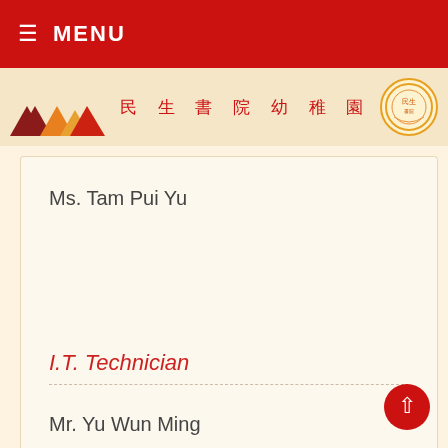≡ MENU
[Figure (logo): School logo with triangles and Chinese name 民生書院幼稚園 and circular emblem]
Ms. Tam Pui Yu
I.T. Technician
Mr. Yu Wun Ming
Mr. Lam Yick Kin